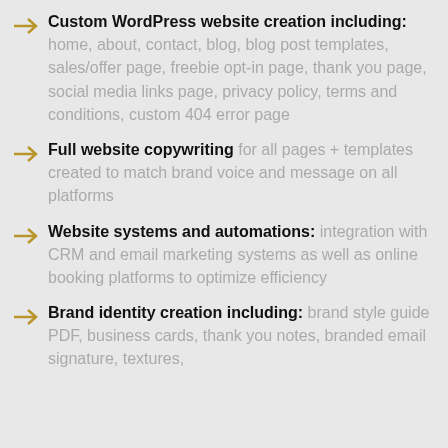Custom WordPress website creation including: home, about, contact, blog, blog post templates, sales/offer page, freebie opt-in page, thank you page, social media links page, privacy policy, terms and conditions, custom 404 error page
Full website copywriting for all pages + templates created to match brand voice and message on all platforms
Website systems and automations: integration with CRM and email marketing systems as well as online booking platforms to optimize efficiency
Brand identity creation including: brand style guide PDF, business cards, thank you notes, branded email signature, textures,